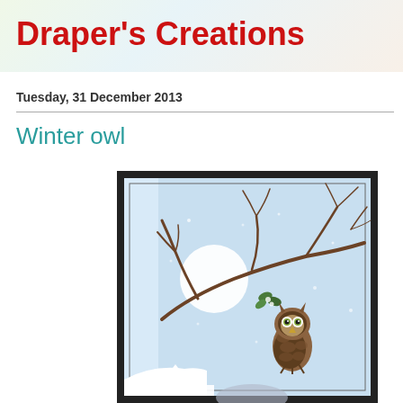Draper's Creations
Tuesday, 31 December 2013
Winter owl
[Figure (photo): A handmade greeting card featuring a winter scene: an owl perched on a bare tree branch under a full moon, with white snowy trees at the bottom, on a light blue background, framed with a dark border.]